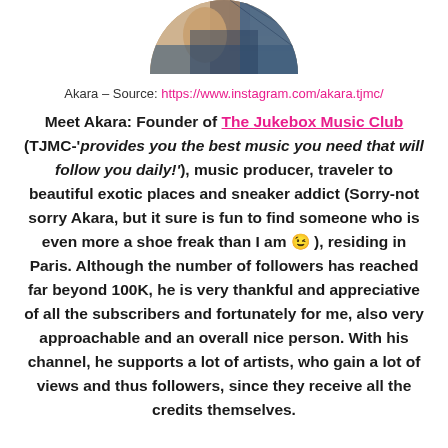[Figure (photo): Circular cropped profile photo of Akara, partially visible at top of page]
Akara – Source: https://www.instagram.com/akara.tjmc/
Meet Akara: Founder of The Jukebox Music Club (TJMC-'provides you the best music you need that will follow you daily!'), music producer, traveler to beautiful exotic places and sneaker addict (Sorry-not sorry Akara, but it sure is fun to find someone who is even more a shoe freak than I am 😉 ), residing in Paris. Although the number of followers has reached far beyond 100K, he is very thankful and appreciative of all the subscribers and fortunately for me, also very approachable and an overall nice person. With his channel, he supports a lot of artists, who gain a lot of views and thus followers, since they receive all the credits themselves.